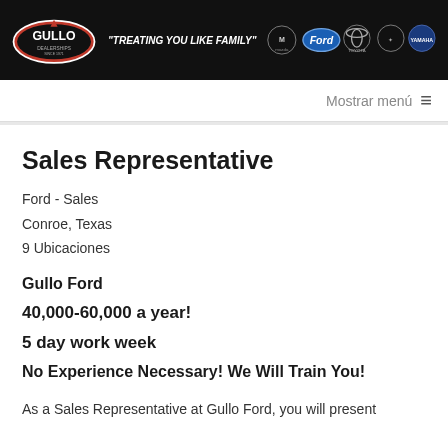[Figure (logo): Gullo Dealerships banner with logos for Mazda, Ford, Toyota, Scion, and Yamaha on black background with tagline 'Treating You Like Family']
Mostrar menú ≡
Sales Representative
Ford - Sales
Conroe, Texas
9 Ubicaciones
Gullo Ford
40,000-60,000 a year!
5 day work week
No Experience Necessary! We Will Train You!
As a Sales Representative at Gullo Ford, you will present